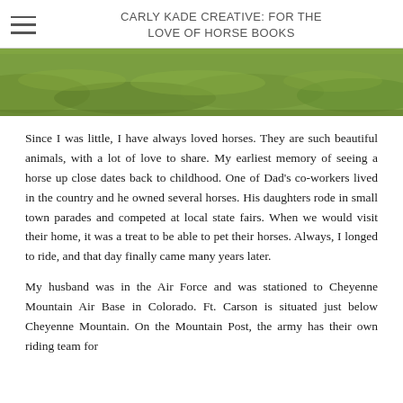CARLY KADE CREATIVE: FOR THE LOVE OF HORSE BOOKS
[Figure (photo): A close-up photograph of green grass, likely a field or pasture, serving as a banner image for the blog post.]
Since I was little, I have always loved horses. They are such beautiful animals, with a lot of love to share. My earliest memory of seeing a horse up close dates back to childhood. One of Dad's co-workers lived in the country and he owned several horses. His daughters rode in small town parades and competed at local state fairs. When we would visit their home, it was a treat to be able to pet their horses. Always, I longed to ride, and that day finally came many years later.
My husband was in the Air Force and was stationed to Cheyenne Mountain Air Base in Colorado. Ft. Carson is situated just below Cheyenne Mountain. On the Mountain Post, the army has their own riding team for